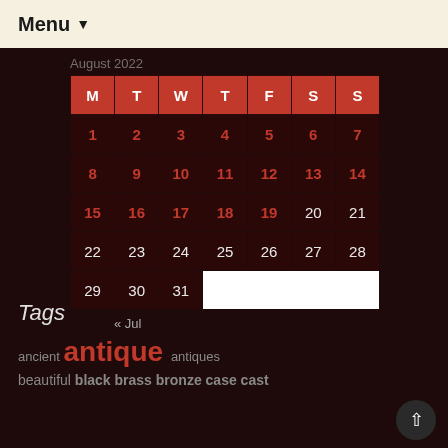Menu ▼
August 2022
| M | T | W | T | F | S | S |
| --- | --- | --- | --- | --- | --- | --- |
| 1 | 2 | 3 | 4 | 5 | 6 | 7 |
| 8 | 9 | 10 | 11 | 12 | 13 | 14 |
| 15 | 16 | 17 | 18 | 19 | 20 | 21 |
| 22 | 23 | 24 | 25 | 26 | 27 | 28 |
| 29 | 30 | 31 |  |  |  |  |
« Jul
Tags
ancient antique antiques
beautiful black brass bronze case cast